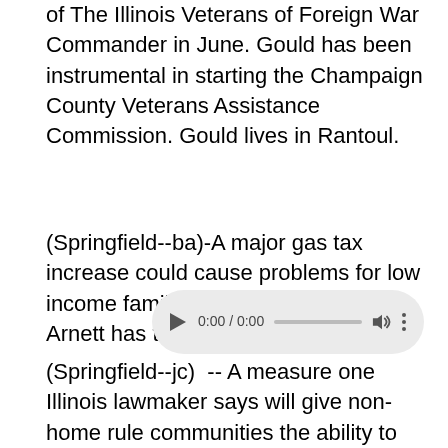of The Illinois Veterans of Foreign War Commander in June. Gould has been instrumental in starting the Champaign County Veterans Assistance Commission. Gould lives in Rantoul.
(Springfield--ba)-A major gas tax increase could cause problems for low income families. WPXN's Braedon Arnett has the story.
[Figure (other): Audio player widget showing 0:00 / 0:00 with play button, progress bar, volume and more options icons]
(Springfield--jc)  -- A measure one Illinois lawmaker says will give non-home rule communities the ability to pay for storm sewer maintenance is being called a rain tax by